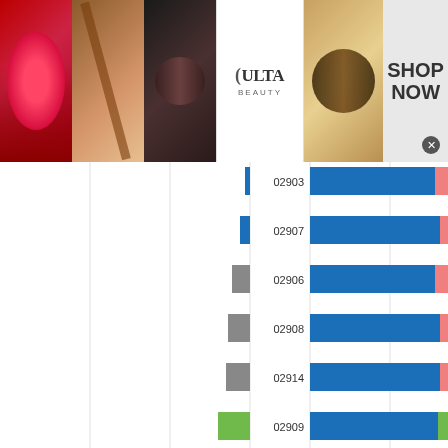[Figure (infographic): Ulta Beauty advertisement banner with makeup images and SHOP NOW call to action]
[Figure (bar-chart): ZIP code comparison bar chart (left side and right side panels)]
[Figure (infographic): Visit Premium Outlets - Leesburg Premium Outlets advertisement banner with navigation icon]